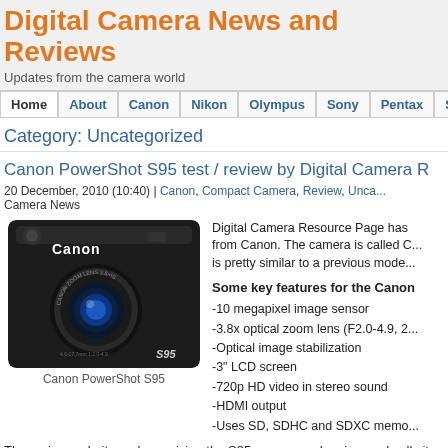Digital Camera News and Reviews
Updates from the camera world
Home | About | Canon | Nikon | Olympus | Sony | Pentax | Sigma
Category: Uncategorized
Canon PowerShot S95 test / review by Digital Camera R...
20 December, 2010 (10:40) | Canon, Compact Camera, Review, Unca... Camera News
[Figure (photo): Canon PowerShot S95 black compact digital camera]
Canon PowerShot S95
Digital Camera Resource Page has... from Canon. The camera is called C... is pretty similar to a previous mode...
Some key features for the Canon
-10 megapixel image sensor
-3.8x optical zoom lens (F2.0-4.9, 2...
-Optical image stabilization
-3" LCD screen
-720p HD video in stereo sound
-HDMI output
-Uses SD, SDHC and SDXC memo...
The review website ends up giving the S95 a very good review and calls it one th...